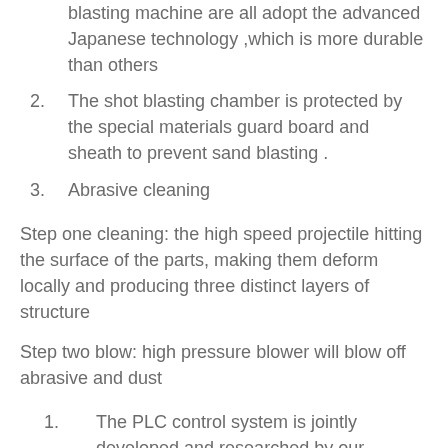blasting machine are all adopt the advanced Japanese technology ,which is more durable than others
The shot blasting chamber is protected by the special materials guard board and sheath to prevent sand blasting .
Abrasive cleaning
Step one cleaning: the high speed projectile hitting the surface of the parts, making them deform locally and producing three distinct layers of structure
Step two blow: high pressure blower will blow off abrasive and dust
The PLC control system is jointly developed and researched by our company and Italian engineers with more intelligent operation and